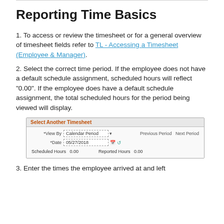Reporting Time Basics
1. To access or review the timesheet or for a general overview of timesheet fields refer to TL - Accessing a Timesheet (Employee & Manager).
2. Select the correct time period. If the employee does not have a default schedule assignment, scheduled hours will reflect "0.00". If the employee does have a default schedule assignment, the total scheduled hours for the period being viewed will display.
[Figure (screenshot): Screenshot of Select Another Timesheet panel showing View By: Calendar Period dropdown, Date: 05/27/2018 field, Previous Period / Next Period navigation, Scheduled Hours 0.00, Reported Hours 0.00]
3. Enter the times the employee arrived at and left